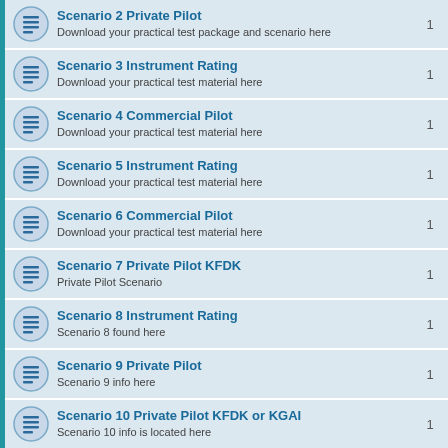Scenario 2 Private Pilot — Download your practical test package and scenario here — 1
Scenario 3 Instrument Rating — Download your practical test material here — 1
Scenario 4 Commercial Pilot — Download your practical test material here — 1
Scenario 5 Instrument Rating — Download your practical test material here — 1
Scenario 6 Commercial Pilot — Download your practical test material here — 1
Scenario 7 Private Pilot KFDK — Private Pilot Scenario — 1
Scenario 8 Instrument Rating — Scenario 8 found here — 1
Scenario 9 Private Pilot — Scenario 9 info here — 1
Scenario 10 Private Pilot KFDK or KGAI — Scenario 10 info is located here — 1
Scenario 11 Private Pilot KFDK — Scenario 11 info here — 1
Scenario 12 Instrument Rating — Scenario 12 info here — 1